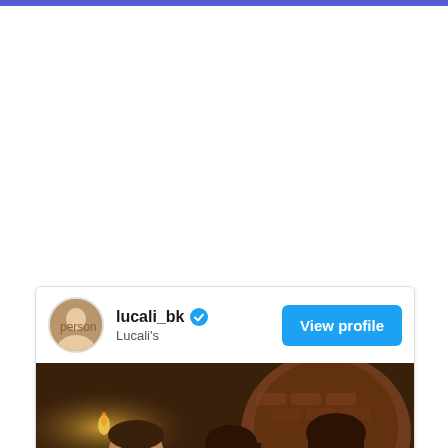[Figure (screenshot): Instagram profile card for lucali_bk (Lucali's) with verified badge and View profile button, showing a photo of three people at a restaurant with a brick oven in the background]
lucali_bk
Lucali's
View profile